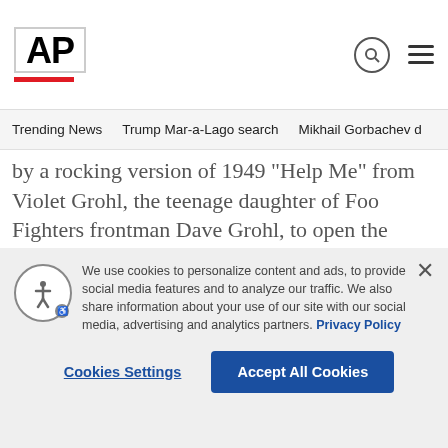AP
Trending News   Trump Mar-a-Lago search   Mikhail Gorbachev d
by a rocking version of 1949 "Help Me" from Violet Grohl, the teenage daughter of Foo Fighters frontman Dave Grohl, to open the tribute concert in a ballroom at the MGM Grand Las Vegas.
Mitchell, sitting at the front table, brought out the teenager in many of the older entertainers.
We use cookies to personalize content and ads, to provide social media features and to analyze our traffic. We also share information about your use of our site with our social media, advertising and analytics partners. Privacy Policy
Cookies Settings   Accept All Cookies